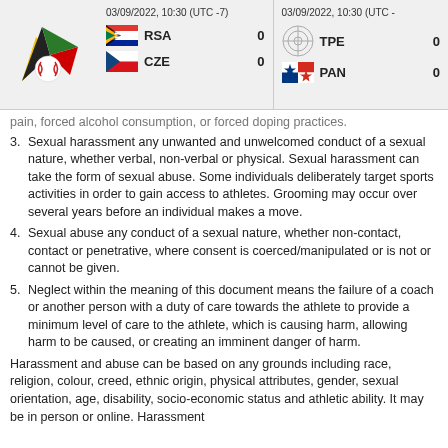03/09/2022, 10:30 (UTC -7) RSA 0 CZE 0 | 03/09/2022, 10:30 (UTC -) TPE 0 PAN 0
3. Sexual harassment any unwanted and unwelcomed conduct of a sexual nature, whether verbal, non-verbal or physical. Sexual harassment can take the form of sexual abuse. Some individuals deliberately target sports activities in order to gain access to athletes. Grooming may occur over several years before an individual makes a move.
4. Sexual abuse any conduct of a sexual nature, whether non-contact, contact or penetrative, where consent is coerced/manipulated or is not or cannot be given.
5. Neglect within the meaning of this document means the failure of a coach or another person with a duty of care towards the athlete to provide a minimum level of care to the athlete, which is causing harm, allowing harm to be caused, or creating an imminent danger of harm.
Harassment and abuse can be based on any grounds including race, religion, colour, creed, ethnic origin, physical attributes, gender, sexual orientation, age, disability, socio-economic status and athletic ability. It may be in person or online. Harassment